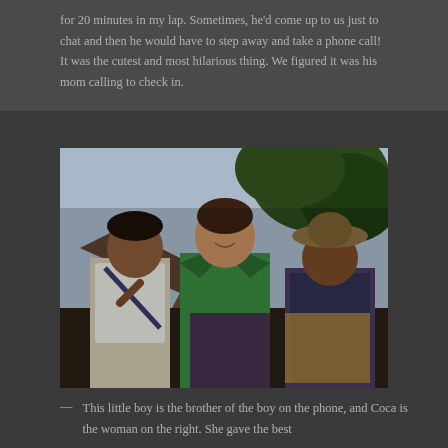for 20 minutes in my lap. Sometimes, he'd come up to us just to chat and then he would have to step away and take a phone call! It was the cutest and most hilarious thing. We figured it was his mom calling to check in.
[Figure (photo): Photograph of three people standing together outdoors: a young boy on the left wearing a white t-shirt with a bag strap across his chest, a smiling woman in the middle wearing a green bikini top, and an older woman on the right wearing a hat. Trees and a structure are visible in the background.]
— This little boy is the brother of the boy on the phone, and Coca is the woman on the right. She gave the best